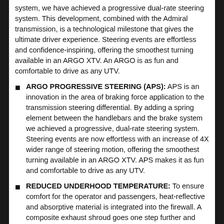system, we have achieved a progressive dual-rate steering system. This development, combined with the Admiral transmission, is a technological milestone that gives the ultimate driver experience. Steering events are effortless and confidence-inspiring, offering the smoothest turning available in an ARGO XTV. An ARGO is as fun and comfortable to drive as any UTV.
ARGO PROGRESSIVE STEERING (APS): APS is an innovation in the area of braking force application to the transmission steering differential. By adding a spring element between the handlebars and the brake system we achieved a progressive, dual-rate steering system. Steering events are now effortless with an increase of 4X wider range of steering motion, offering the smoothest turning available in an ARGO XTV. APS makes it as fun and comfortable to drive as any UTV.
REDUCED UNDERHOOD TEMPERATURE: To ensure comfort for the operator and passengers, heat-reflective and absorptive material is integrated into the firewall. A composite exhaust shroud goes one step further and effectively redirects heat while producing a subtle note from the exhaust.